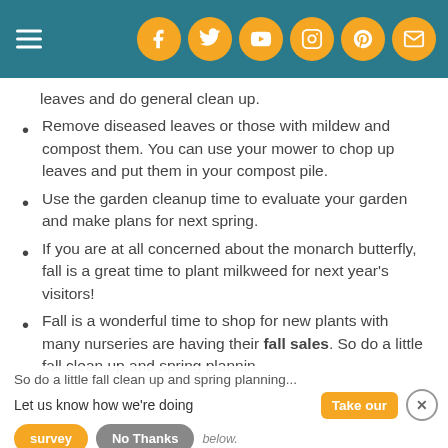Navigation header with social media icons: Facebook, Twitter, YouTube, Instagram, Pinterest, Email
leaves and do general clean up.
Remove diseased leaves or those with mildew and compost them. You can use your mower to chop up leaves and put them in your compost pile.
Use the garden cleanup time to evaluate your garden and make plans for next spring.
If you are at all concerned about the monarch butterfly, fall is a great time to plant milkweed for next year's visitors!
Fall is a wonderful time to shop for new plants with many nurseries are having their fall sales. So do a little fall clean up and spring planning
Let us know how we're doing  Take our survey  No Thanks